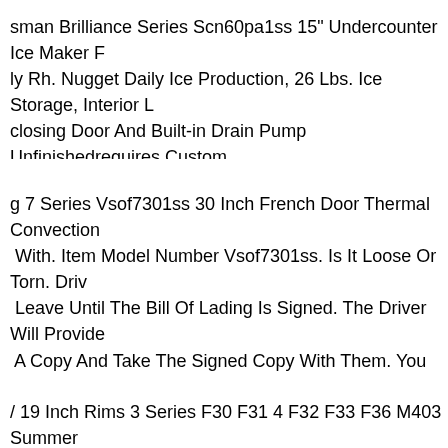sman Brilliance Series Scn60pa1ss 15" Undercounter Ice Maker F ly Rh. Nugget Daily Ice Production, 26 Lbs. Ice Storage, Interior L closing Door And Built-in Drain Pump Unfinishedrequires Custom el, Right Hinge. Scotsman Brilliance Series Scn60pa1su. Undercou
g 7 Series Vsof7301ss 30 Inch French Door Thermal Convection With. Item Model Number Vsof7301ss. Is It Loose Or Torn. Driv Leave Until The Bill Of Lading Is Signed. The Driver Will Provide A Copy And Take The Signed Copy With Them. You Can Not orize Freight To Be Left Without You Being Present.
/ 19 Inch Rims 3 Series F30 F31 4 F32 F33 F36 M403 Summer els Tires. Vehicle Models Bmw 3 Series F30 F31 & 4 Series F32 F: ies Gran Coupe F36. Condition The Rims Are New. The Tires Are l, See Photos. Rims 8.0 X 19 Et 36 8.5 X 19 Et 47. Tire Tread Dept ox 6mm 5 Mm (new Tires Usually Have 8 Mm).